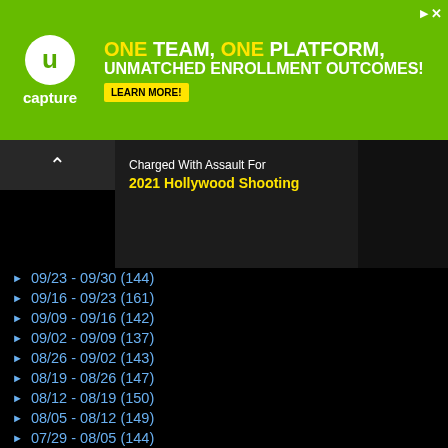[Figure (screenshot): Green advertisement banner for uCapture with logo, text 'ONE TEAM, ONE PLATFORM, UNMATCHED ENROLLMENT OUTCOMES!' and 'LEARN MORE!' button]
[Figure (screenshot): Video thumbnail showing news headline 'Charged With Assault For 2021 Hollywood Shooting' with partial face visible and 'GU' badge]
09/23 - 09/30 (144)
09/16 - 09/23 (161)
09/09 - 09/16 (142)
09/02 - 09/09 (137)
08/26 - 09/02 (143)
08/19 - 08/26 (147)
08/12 - 08/19 (150)
08/05 - 08/12 (149)
07/29 - 08/05 (144)
07/22 - 07/29 (146)
07/15 - 07/22 (148)
07/08 - 07/15 (145)
07/01 - 07/08 (217)
[Figure (photo): Photo of a smiling woman wearing a black-and-white geometric patterned outfit with red accents]
The Grio